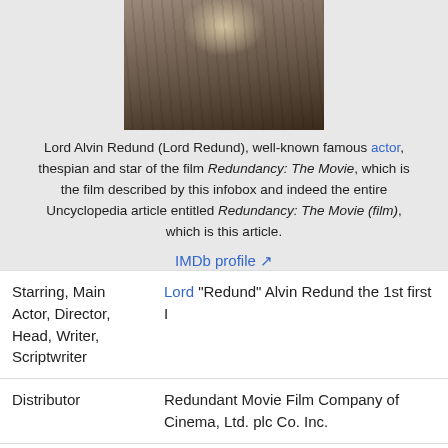[Figure (photo): A painted or photographed portrait of a man in a dark jacket with a gold emblem/medal, cropped to show torso and lower face area]
Lord Alvin Redund (Lord Redund), well-known famous actor, thespian and star of the film Redundancy: The Movie, which is the film described by this infobox and indeed the entire Uncyclopedia article entitled Redundancy: The Movie (film), which is this article.
IMDb profile [external link]
This film on the Internet Movie DataBase [external link]
| Role | Person/Company |
| --- | --- |
| Starring, Main Actor, Director, Head, Writer, Scriptwriter | Lord "Redund" Alvin Redund the 1st first I |
| Distributor | Redundant Movie Film Company of Cinema, Ltd. plc Co. Inc. |
|  | The sixth day of October, on the 19th |